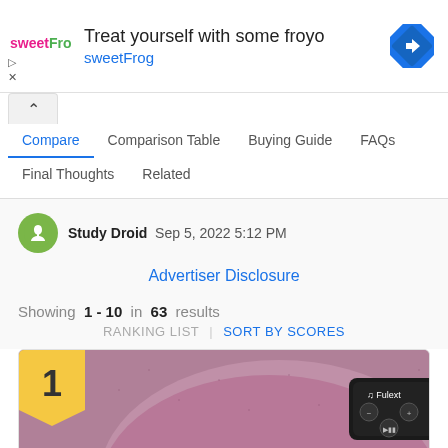[Figure (screenshot): Advertisement banner for sweetFrog frozen yogurt. Logo on left, text 'Treat yourself with some froyo' and 'sweetFrog' in blue, blue diamond navigation icon on right. Ad controls (play/close) bottom left.]
Compare | Comparison Table | Buying Guide | FAQs | Final Thoughts | Related
Study Droid  Sep 5, 2022 5:12 PM
Advertiser Disclosure
Showing 1 - 10 in 63 results
RANKING LIST | SORT BY SCORES
[Figure (photo): Product ranked #1 - Fulext bluetooth sleep headphones, pink/purple fabric headband with black control unit visible. Rank badge showing '1' in golden/yellow color at top left.]